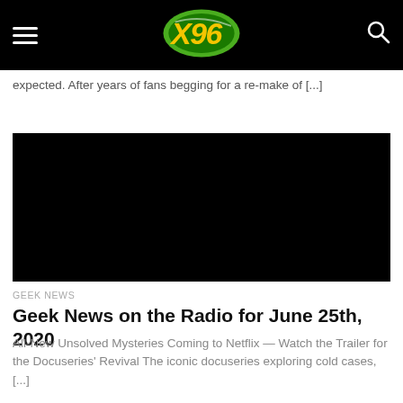X96 navigation header with hamburger menu, X96 logo, and search icon
expected. After years of fans begging for a re-make of [...]
[Figure (photo): Black rectangular image placeholder for article thumbnail]
GEEK NEWS
Geek News on the Radio for June 25th, 2020
All-New Unsolved Mysteries Coming to Netflix — Watch the Trailer for the Docuseries' Revival The iconic docuseries exploring cold cases, [...]